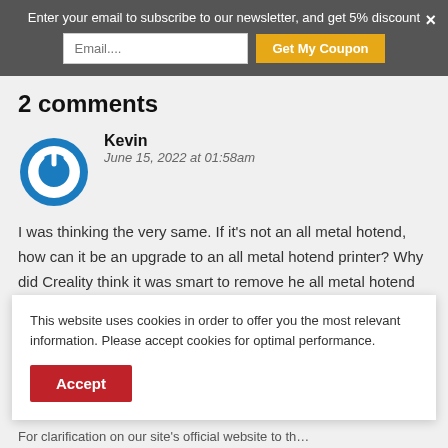Enter your email to subscribe to our newsletter, and get 5% discount
2 comments
Kevin
June 15, 2022 at 01:58am
I was thinking the very same. If it's not an all metal hotend, how can it be an upgrade to an all metal hotend printer? Why did Creality think it was smart to remove he all metal hotend from this printer any way? This seems like a step backwards...
This website uses cookies in order to offer you the most relevant information. Please accept cookies for optimal performance.
Accept